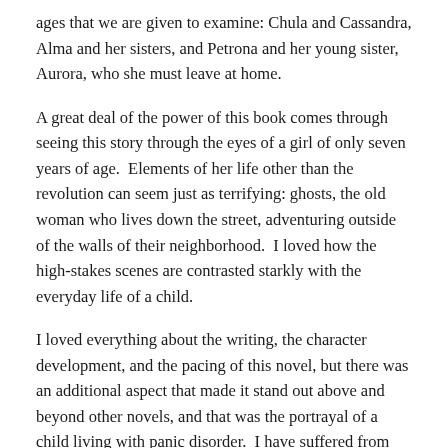ages that we are given to examine: Chula and Cassandra, Alma and her sisters, and Petrona and her young sister, Aurora, who she must leave at home.
A great deal of the power of this book comes through seeing this story through the eyes of a girl of only seven years of age.  Elements of her life other than the revolution can seem just as terrifying: ghosts, the old woman who lives down the street, adventuring outside of the walls of their neighborhood.  I loved how the high-stakes scenes are contrasted starkly with the everyday life of a child.
I loved everything about the writing, the character development, and the pacing of this novel, but there was an additional aspect that made it stand out above and beyond other novels, and that was the portrayal of a child living with panic disorder.  I have suffered from anxiety for much of my life, but for many years I didn't know what to call it. I didn't realize my panic attacks were different from the way other